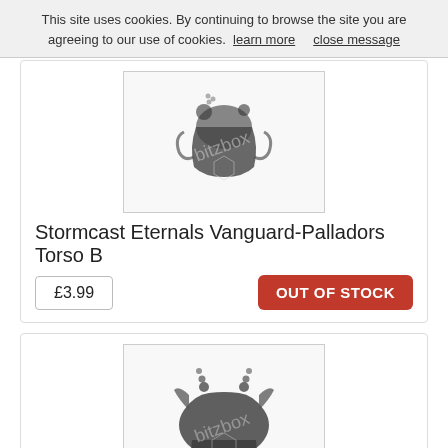This site uses cookies. By continuing to browse the site you are agreeing to our use of cookies.  learn more      close message
[Figure (photo): Product image of Stormcast Eternals Vanguard-Palladors Torso B miniature piece, showing dark metal armor torso parts, with Bitzbox watermark]
Stormcast Eternals Vanguard-Palladors Torso B
£3.99
OUT OF STOCK
[Figure (photo): Product image of Stormcast Eternals Vanguard-Palladors Torso C miniature piece, showing dark metal armor parts with ornate details, with Bitzbox watermark]
Stormcast Eternals Vanguard-Palladors Torso C